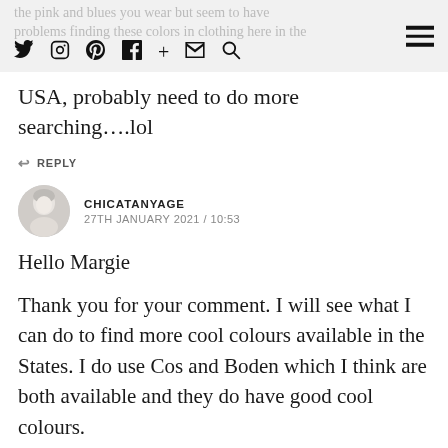the pink and blues you wear but seem to have problems finding these colors in clothing here in the [nav icons] USA...
USA, probably need to do more searching….lol
REPLY
CHICATANYAGE
27TH JANUARY 2021 / 10:53
Hello Margie

Thank you for your comment. I will see what I can do to find more cool colours available in the States. I do use Cos and Boden which I think are both available and they do have good cool colours.
REPLY
SYLVIA